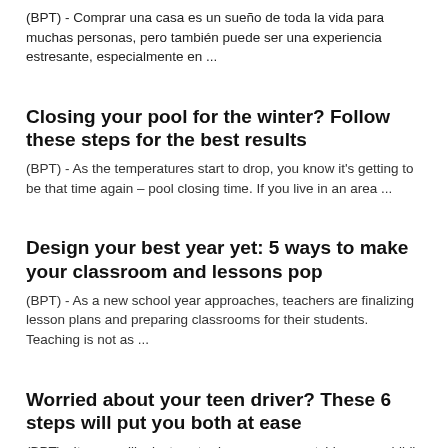(BPT) - Comprar una casa es un sueño de toda la vida para muchas personas, pero también puede ser una experiencia estresante, especialmente en ...
Closing your pool for the winter? Follow these steps for the best results
(BPT) - As the temperatures start to drop, you know it's getting to be that time again – pool closing time. If you live in an area ...
Design your best year yet: 5 ways to make your classroom and lessons pop
(BPT) - As a new school year approaches, teachers are finalizing lesson plans and preparing classrooms for their students. Teaching is not as ...
Worried about your teen driver? These 6 steps will put you both at ease
(BPT) - It seems like just yesterday you were watching your child's first steps, and today she is asking for the keys to